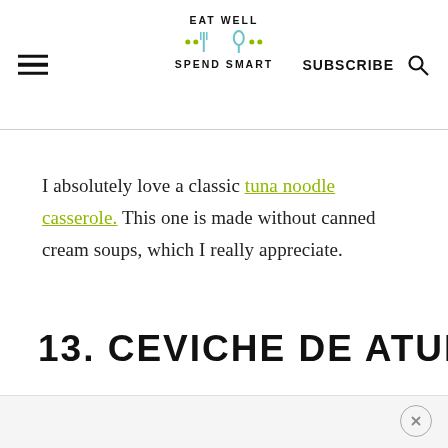EAT WELL SPEND SMART | SUBSCRIBE
I absolutely love a classic tuna noodle casserole. This one is made without canned cream soups, which I really appreciate.
13. CEVICHE DE ATUN